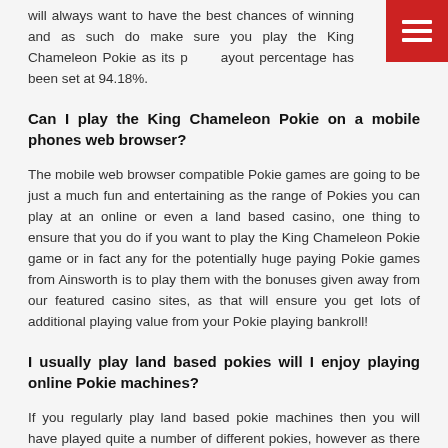will always want to have the best chances of winning and as such do make sure you play the King Chameleon Pokie as its payout percentage has been set at 94.18%.
Can I play the King Chameleon Pokie on a mobile phones web browser?
The mobile web browser compatible Pokie games are going to be just a much fun and entertaining as the range of Pokies you can play at an online or even a land based casino, one thing to ensure that you do if you want to play the King Chameleon Pokie game or in fact any for the potentially huge paying Pokie games from Ainsworth is to play them with the bonuses given away from our featured casino sites, as that will ensure you get lots of additional playing value from your Pokie playing bankroll!
I usually play land based pokies will I enjoy playing online Pokie machines?
If you regularly play land based pokie machines then you will have played quite a number of different pokies, however as there is often